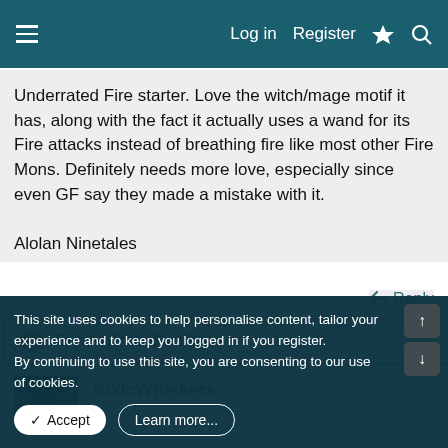Log in  Register
Underrated Fire starter. Love the witch/mage motif it has, along with the fact it actually uses a wand for its Fire attacks instead of breathing fire like most other Fire Mons. Definitely needs more love, especially since even GF say they made a mistake with it.

Alolan Ninetales
Reply
EternalPokéFanGirl
ToxicWhiskers
This site uses cookies to help personalise content, tailor your experience and to keep you logged in if you register.
By continuing to use this site, you are consenting to our use of cookies.
Accept  Learn more...